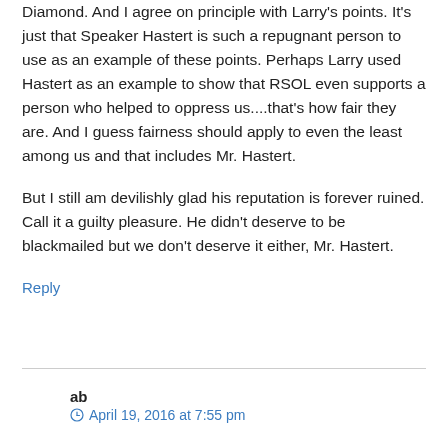Diamond. And I agree on principle with Larry's points. It's just that Speaker Hastert is such a repugnant person to use as an example of these points. Perhaps Larry used Hastert as an example to show that RSOL even supports a person who helped to oppress us....that's how fair they are. And I guess fairness should apply to even the least among us and that includes Mr. Hastert.
But I still am devilishly glad his reputation is forever ruined. Call it a guilty pleasure. He didn't deserve to be blackmailed but we don't deserve it either, Mr. Hastert.
Reply
ab
April 19, 2016 at 7:55 pm